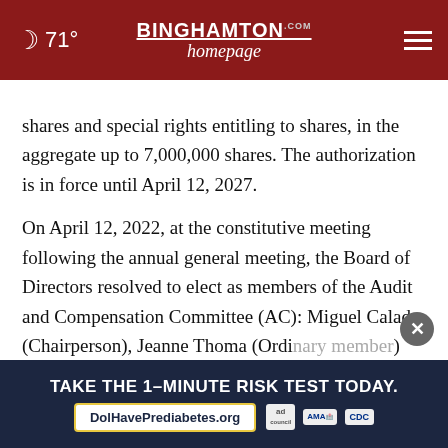71° BINGHAMTON homepage .com ☰
shares and special rights entitling to shares, in the aggregate up to 7,000,000 shares. The authorization is in force until April 12, 2027.

On April 12, 2022, at the constitutive meeting following the annual general meeting, the Board of Directors resolved to elect as members of the Audit and Compensation Committee (AC): Miguel Calado (Chairperson), Jeanne Thoma (Ordinary member), and [obscured] (Ordinary member)
[Figure (screenshot): Advertisement banner at bottom: dark navy background with white bold text 'TAKE THE 1-MINUTE RISK TEST TODAY.' and URL button 'DolHavePrediabetes.org' with ad council, AMA, and CDC logos]